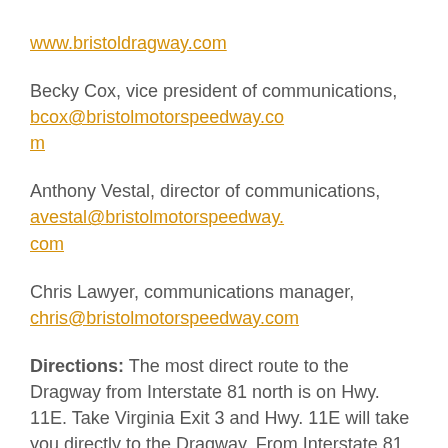www.bristoldragway.com
Becky Cox, vice president of communications, bcox@bristolmotorspeedway.com
Anthony Vestal, director of communications, avestal@bristolmotorspeedway.com
Chris Lawyer, communications manager, chris@bristolmotorspeedway.com
Directions: The most direct route to the Dragway from Interstate 81 north is on Hwy. 11E. Take Virginia Exit 3 and Hwy. 11E will take you directly to the Dragway. From Interstate 81 south, take